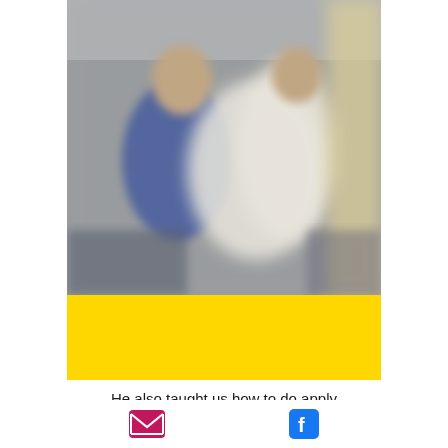[Figure (photo): Blurred photo of people, likely indoors, with figure in blue on left and white-clothed figure on right near a bright light or window]
He also taught us how to do apply this nice finish on our walls, look at the
[Figure (infographic): Email icon (pink envelope) and Facebook icon (blue F logo) at the bottom of the page]